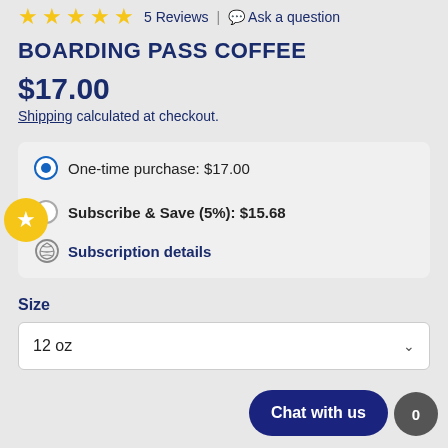★★★★★ 5 Reviews | Ask a question
BOARDING PASS COFFEE
$17.00
Shipping calculated at checkout.
One-time purchase: $17.00
Subscribe & Save (5%): $15.68
Subscription details
Size
12 oz
Chat with us